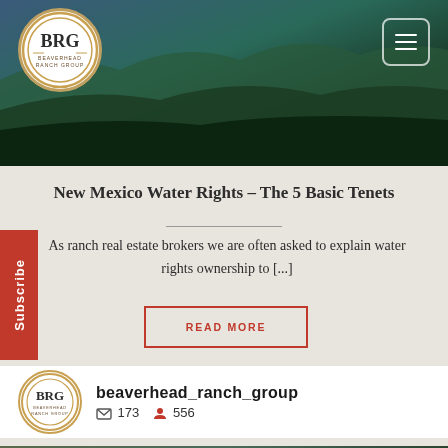[Figure (photo): Aerial landscape photo with green terrain, used as website header background with BRG logo and hamburger menu button]
New Mexico Water Rights – The 5 Basic Tenets
As ranch real estate brokers we are often asked to explain water rights ownership to [...]
READ MORE
[Figure (logo): Beaverhead Ranch Group circular logo with BRG initials]
beaverhead_ranch_group  173  556